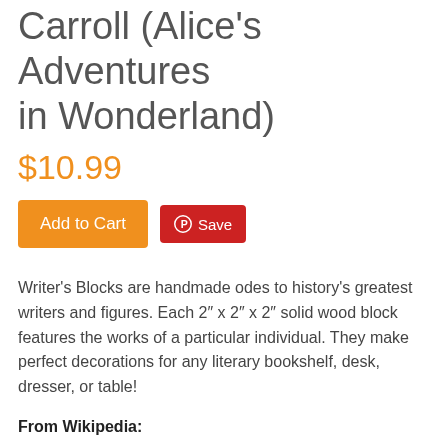Carroll (Alice's Adventures in Wonderland)
$10.99
Add to Cart  Save
Writer’s Blocks are handmade odes to history’s greatest writers and figures. Each 2″ x 2″ x 2″ solid wood block features the works of a particular individual. They make perfect decorations for any literary bookshelf, desk, dresser, or table!
From Wikipedia: